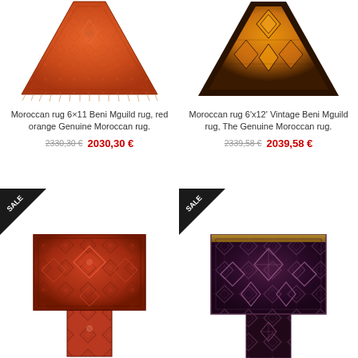[Figure (photo): Moroccan rug 6x11 Beni Mguild, red orange, viewed from above spreading out with fringes]
Moroccan rug 6×11 Beni Mguild rug, red orange Genuine Moroccan rug.
2330,30 € 2030,30 €
[Figure (photo): Moroccan rug 6'x12' Vintage Beni Mguild rug, orange with dark geometric patterns, viewed from above]
Moroccan rug 6'x12' Vintage Beni Mguild rug, The Genuine Moroccan rug.
2339,58 € 2039,58 €
[Figure (photo): Moroccan rug with red geometric diamond patterns, SALE badge, viewed from above]
[Figure (photo): Moroccan rug with dark purple/maroon geometric diamond patterns, SALE badge, viewed from above]